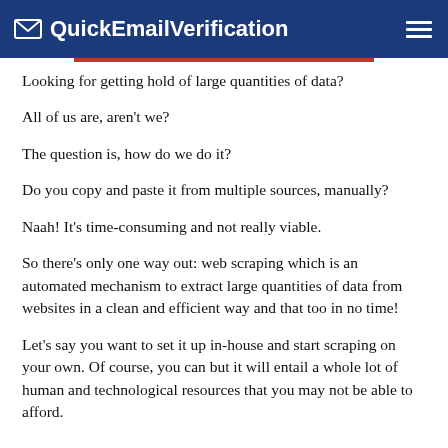QuickEmailVerification
Looking for getting hold of large quantities of data?
All of us are, aren't we?
The question is, how do we do it?
Do you copy and paste it from multiple sources, manually?
Naah! It's time-consuming and not really viable.
So there's only one way out: web scraping which is an automated mechanism to extract large quantities of data from websites in a clean and efficient way and that too in no time!
Let's say you want to set it up in-house and start scraping on your own. Of course, you can but it will entail a whole lot of human and technological resources that you may not be able to afford.